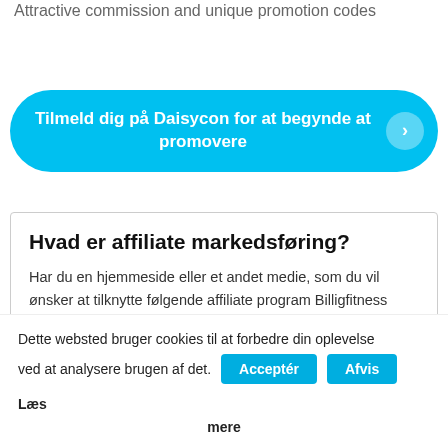Attractive commission and unique promotion codes
Tilmeld dig på Daisycon for at begynde at promovere
Hvad er affiliate markedsføring?
Har du en hjemmeside eller et andet medie, som du vil ønsker at tilknytte følgende affiliate program Billigfitness (SE)? Det første du skal gøre er at tilmelde dig Daisycon. Når du er
Dette websted bruger cookies til at forbedre din oplevelse ved at analysere brugen af det.
Acceptér
Afvis
Læs mere